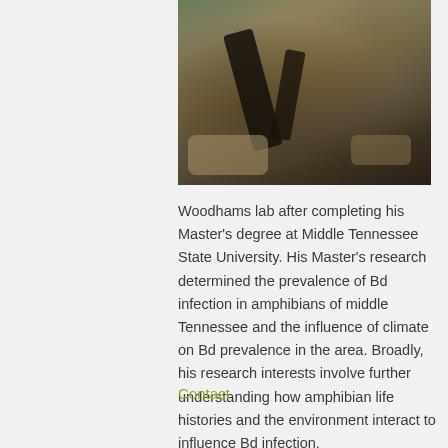[Figure (photo): Close-up photograph of an amphibian (salamander or similar) on rocky terrain with dark limbs visible against rocky/earthy background]
Woodhams lab after completing his Master's degree at Middle Tennessee State University. His Master's research determined the prevalence of Bd infection in amphibians of middle Tennessee and the influence of climate on Bd prevalence in the area. Broadly, his research interests involve further understanding how amphibian life histories and the environment interact to influence Bd infection.
Contact